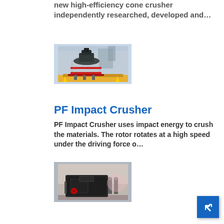new high-efficiency cone crusher independently researched, developed and…
[Figure (photo): Hydraulic cone crusher machine in industrial setting]
PF Impact Crusher
PF Impact Crusher uses impact energy to crush the materials. The rotor rotates at a high speed under the driving force o…
[Figure (photo): PF Impact Crusher machine in industrial setting]
[Figure (other): Navigation arrow button (blue)]